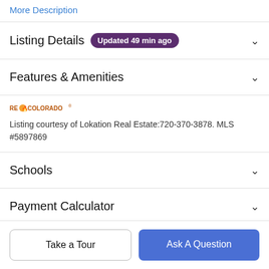More Description
Listing Details  Updated 49 min ago
Features & Amenities
[Figure (logo): RE/Colorado logo]
Listing courtesy of Lokation Real Estate:720-370-3878. MLS #5897869
Schools
Payment Calculator
Take a Tour
Ask A Question